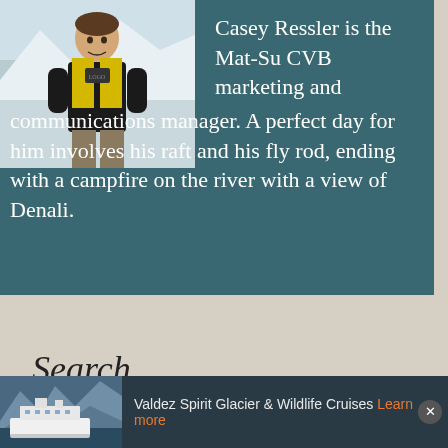[Figure (photo): Photo of Casey Ressler standing outdoors in a yellow and black vest against a snowy/icy background]
Casey Ressler is the Mat-Su CVB marketing and communications manager. A perfect day for him involves his raft and his fly rod, ending with a campfire on the river with a view of Denali.
Search
[Figure (photo): Cruise ship in glacier/fjord scenery for Valdez Spirit Glacier & Wildlife Cruises ad]
Valdez Spirit Glacier & Wildlife Cruises Learn more